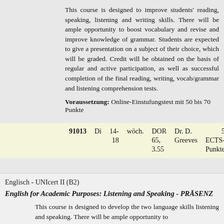This course is designed to improve students' reading, speaking, listening and writing skills. There will be ample opportunity to boost vocabulary and revise and improve knowledge of grammar. Students are expected to give a presentation on a subject of their choice, which will be graded. Credit will be obtained on the basis of regular and active participation, as well as successful completion of the final reading, writing, vocab/grammar and listening comprehension tests.
Voraussetzung: Online-Einstufungstest mit 50 bis 70 Punkte
| 91013 | Di | 14- | wöch. | DOR | Dr. D. | 5 | 40 | keine Buchu |
|  |  | 18 |  | 65, | Greeves | ECTS- | € |  |
|  |  |  |  | 3.55 |  | Punkte |  |  |
Englisch  -  UNIcert II (B2)
English for Academic Purposes: Listening and Speaking - PRÄSENZ
This course is designed to develop the two language skills listening and speaking. There will be ample opportunity to